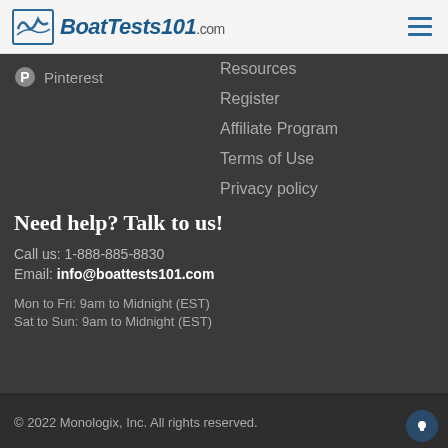BoatTests101.com
Pinterest
Resources
Register
Affiliate Program
Terms of Use
Privacy policy
Need help? Talk to us!
Call us: 1-888-885-8830
Email: info@boattests101.com
Mon to Fri: 9am to Midnight (EST)
Sat to Sun: 9am to Midnight (EST)
© 2022 Monologix, Inc. All rights reserved.